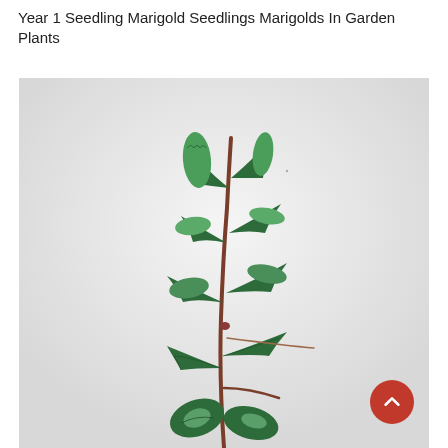Year 1 Seedling Marigold Seedlings Marigolds In Garden Plants
[Figure (photo): A single plant stem with green serrated leaves against a light grey/white background. The stem is reddish-brown and holds multiple pairs of dark green leaves with lighter colored undersides or edges. A red circular scroll-to-top button with a white upward chevron is overlaid in the bottom-right corner of the image.]